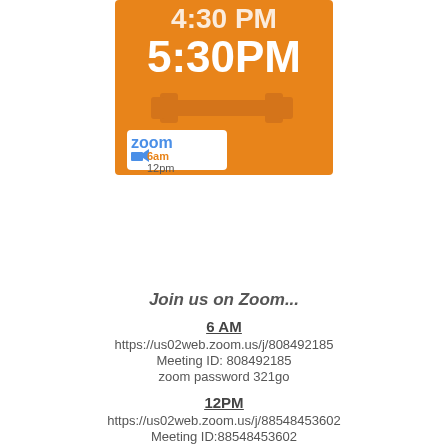[Figure (infographic): Orange banner showing 5:30PM workout time with dumbbell icon, Zoom logo with 6am and 12pm text in blue and orange]
Join us on Zoom...
6 AM
https://us02web.zoom.us/j/808492185
Meeting ID: 808492185
zoom password 321go
12PM
https://us02web.zoom.us/j/88548453602
Meeting ID:88548453602
zoom password 321go
TEST DAY- RECORD RESULTS
"Diane"